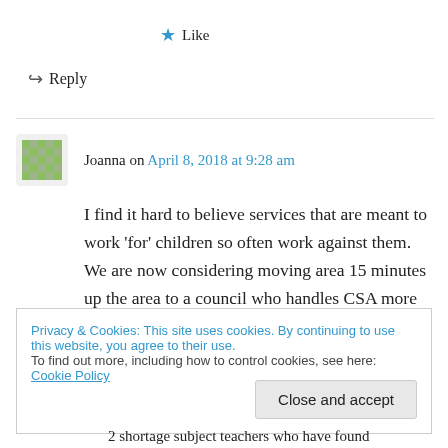★ Like
↪ Reply
Joanna on April 8, 2018 at 9:28 am
I find it hard to believe services that are meant to work 'for' children so often work against them. We are now considering moving area 15 minutes up the area to a council who handles CSA more sympathetically – until the code is changed
Privacy & Cookies: This site uses cookies. By continuing to use this website, you agree to their use.
To find out more, including how to control cookies, see here: Cookie Policy
Close and accept
2 shortage subject teachers who have found